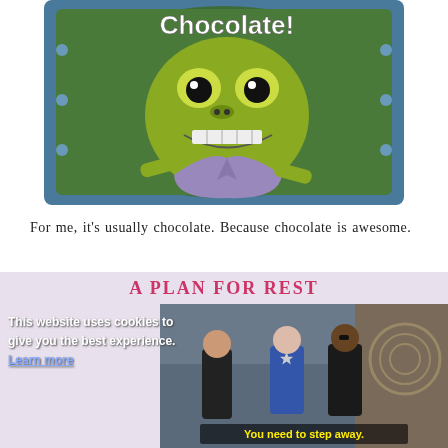[Figure (illustration): SpongeBob character fish with green scales and purple shirt shown looking creepy/intense, with white bold text 'Chocolate!' at the top, set inside a blue oval porthole frame with green background]
For me, it’s usually chocolate. Because chocolate is awesome.
A PLAN FOR REST
[Figure (photo): Scene from The Avengers movie showing Tony Stark, Captain America, and Nick Fury standing together in a facility. Subtitle reads 'You need to step away.' Overlaid with a semi-transparent cookie consent banner reading 'This website uses cookies to give you the best experience. Learn more']